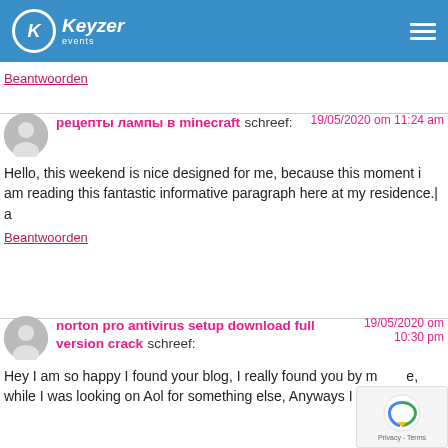Keyzer events
Beantwoorden
рецепты лампы в minecraft schreef: 19/05/2020 om 11:24 am
Hello, this weekend is nice designed for me, because this moment i am reading this fantastic informative paragraph here at my residence.| a
Beantwoorden
norton pro antivirus setup download full version crack schreef: 19/05/2020 om 10:30 pm
Hey I am so happy I found your blog, I really found you by mistake, while I was looking on Aol for something else, Anyways I am here now and would just like to say cheers for a fantastic post and all round entertaining...